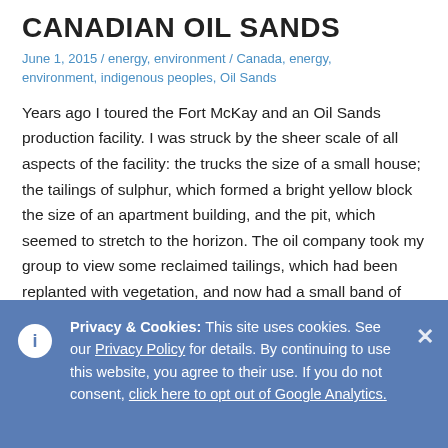CANADIAN OIL SANDS
June 1, 2015 / energy, environment / Canada, energy, environment, indigenous peoples, Oil Sands
Years ago I toured the Fort McKay and an Oil Sands production facility. I was struck by the sheer scale of all aspects of the facility: the trucks the size of a small house; the tailings of sulphur, which formed a bright yellow block the size of an apartment building, and the pit, which seemed to stretch to the horizon. The oil company took my group to view some reclaimed tailings, which had been replanted with vegetation, and now had a small band of buffalo. If I remember correctly, the buffalo were cared for by the local aboriginal people.
Privacy & Cookies: This site uses cookies. See our Privacy Policy for details. By continuing to use this website, you agree to their use. If you do not consent, click here to opt out of Google Analytics.